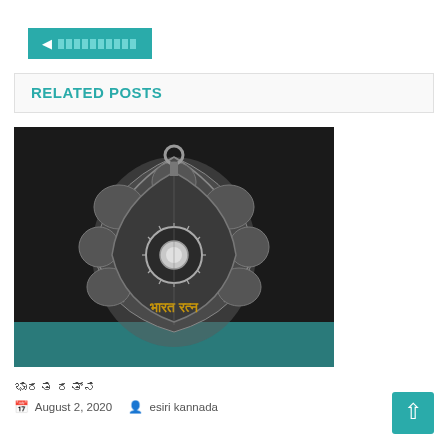◄ ▓▓▓▓▓▓▓▓▓▓▓...
RELATED POSTS
[Figure (photo): Bharat Ratna medal - a silver/metallic peepal leaf-shaped medallion with a sun motif and Sanskrit inscription 'Bharat Ratna', displayed against a dark background with teal/blue ribbon]
ಭಾರತ ರತ್ನ
August 2, 2020  esiri kannada